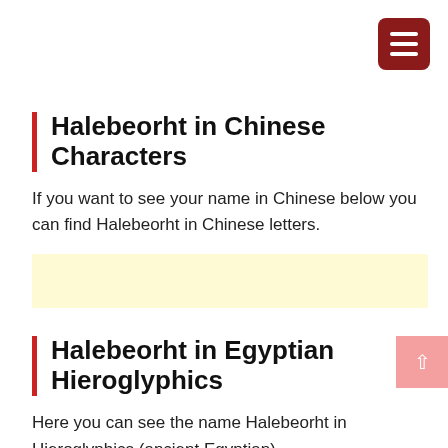[Figure (other): Hamburger menu button icon — dark red rounded square with three white horizontal lines]
Halebeorht in Chinese Characters
If you want to see your name in Chinese below you can find Halebeorht in Chinese letters.
[Figure (other): Light yellow highlighted box (empty / placeholder for Chinese character rendering)]
Halebeorht in Egyptian Hieroglyphics
Here you can see the name Halebeorht in Hieroglyphics (ancient Egyptian)